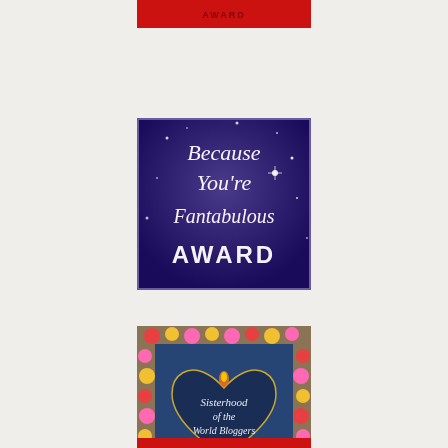[Figure (illustration): Partial red award image at top of page]
[Figure (illustration): Because You're Fantabulous Award - blue starry background with white decorative text]
[Figure (illustration): Sisterhood of the World Bloggers Award - denim heart with floral border]
[Figure (illustration): Partial red award image at bottom of page, partially cut off]